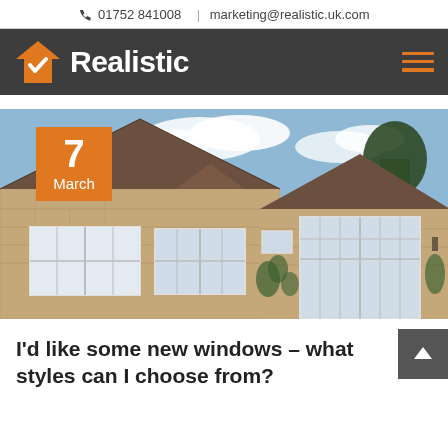📞 01752 841008  |  marketing@realistic.uk.com
[Figure (logo): Realistic logo: orange house with white checkmark and bold white text 'Realistic' on dark grey background, with orange hamburger menu icon on right]
[Figure (photo): Photo of a stone cottage house with white uPVC windows and French doors, tiled roof, ivy growing on walls, blue sky with clouds in background. Date badge showing '7 March' in orange overlay on top left.]
I'd like some new windows – what styles can I choose from?